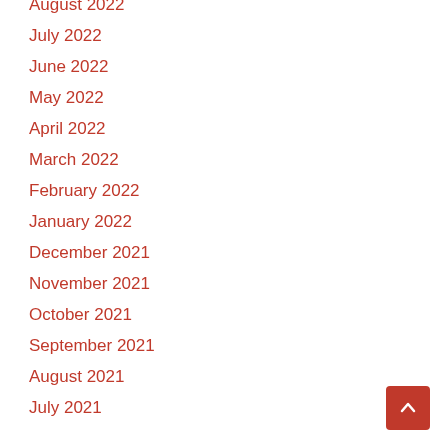August 2022
July 2022
June 2022
May 2022
April 2022
March 2022
February 2022
January 2022
December 2021
November 2021
October 2021
September 2021
August 2021
July 2021